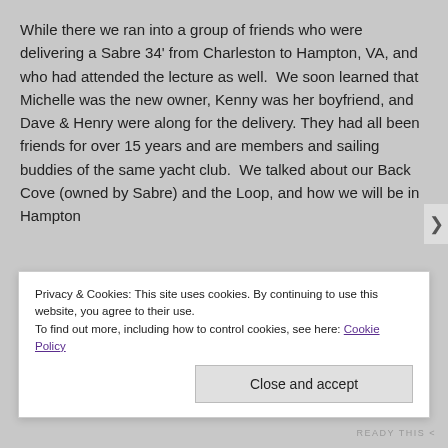While there we ran into a group of friends who were delivering a Sabre 34' from Charleston to Hampton, VA, and who had attended the lecture as well.  We soon learned that Michelle was the new owner, Kenny was her boyfriend, and Dave & Henry were along for the delivery. They had all been friends for over 15 years and are members and sailing buddies of the same yacht club.  We talked about our Back Cove (owned by Sabre) and the Loop, and how we will be in Hampton
Privacy & Cookies: This site uses cookies. By continuing to use this website, you agree to their use.
To find out more, including how to control cookies, see here: Cookie Policy
Close and accept